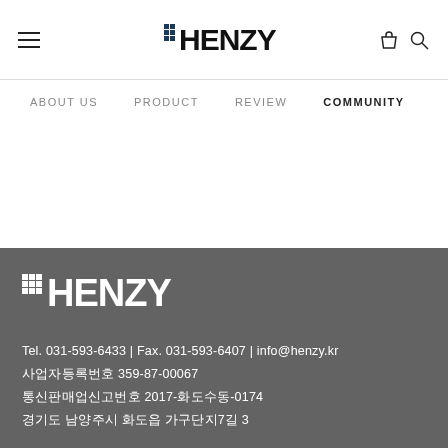HENZY — site header with hamburger menu, logo, bag and search icons
ABOUT US  PRODUCT  REVIEW  COMMUNITY
[Figure (logo): HENZY logo in white on dark grey footer background]
Tel. 031-593-6433 | Fax. 031-593-6407 | info@henzy.kr
사업자등록번호 359-87-00067
통신판매업신고번호 2017-화도수동-0174
경기도 남양주시 화도읍 가구단지7길 3